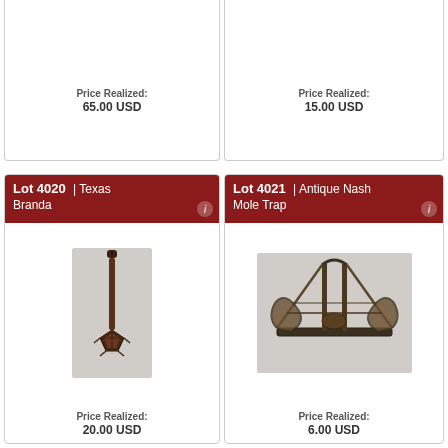Price Realized:
65.00 USD
Price Realized:
15.00 USD
Lot 4020 | Texas Branda
[Figure (photo): Texas Branda - a metal branding iron with long handle and ornate star/diamond shaped end]
Price Realized:
20.00 USD
Lot 4021 | Antique Nash Mole Trap
[Figure (photo): Antique Nash Mole Trap - a complex metal spring trap mechanism with curved arms and base]
Price Realized:
6.00 USD